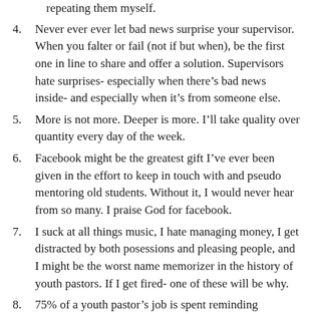repeating them myself.
4. Never ever ever let bad news surprise your supervisor. When you falter or fail (not if but when), be the first one in line to share and offer a solution. Supervisors hate surprises- especially when there’s bad news inside- and especially when it’s from someone else.
5. More is not more. Deeper is more. I’ll take quality over quantity every day of the week.
6. Facebook might be the greatest gift I’ve ever been given in the effort to keep in touch with and pseudo mentoring old students. Without it, I would never hear from so many. I praise God for facebook.
7. I suck at all things music, I hate managing money, I get distracted by both posessions and pleasing people, and I might be the worst name memorizer in the history of youth pastors. If I get fired- one of these will be why.
8. 75% of a youth pastor’s job is spent reminding everyone what it is we’re trying to do, when we’re doing it, and why it needs to get done.